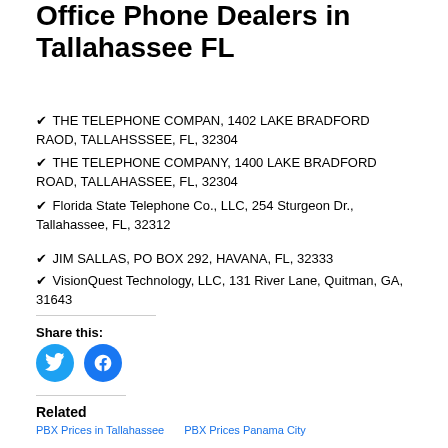Office Phone Dealers in Tallahassee FL
THE TELEPHONE COMPAN, 1402 LAKE BRADFORD RAOD, TALLAHSSSEE, FL, 32304
THE TELEPHONE COMPANY, 1400 LAKE BRADFORD ROAD, TALLAHASSEE, FL, 32304
Florida State Telephone Co., LLC, 254 Sturgeon Dr., Tallahassee, FL, 32312
JIM SALLAS, PO BOX 292, HAVANA, FL, 32333
VisionQuest Technology, LLC, 131 River Lane, Quitman, GA, 31643
Share this:
[Figure (infographic): Twitter and Facebook share buttons (circular blue icons)]
Related
PBX Prices in Tallahassee   PBX Prices Panama City